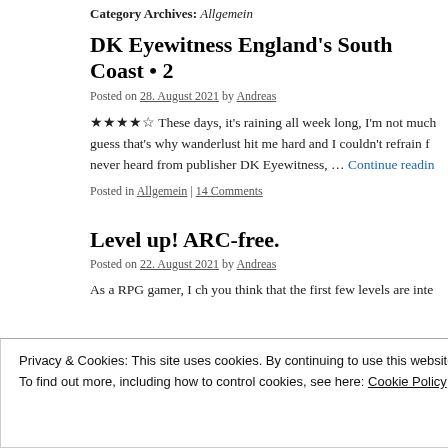Category Archives: Allgemein
DK Eyewitness England's South Coast • 2…
Posted on 28. August 2021 by Andreas
★★★★☆ These days, it's raining all week long, I'm not much… guess that's why wanderlust hit me hard and I couldn't refrain f… never heard from publisher DK Eyewitness, … Continue reading
Posted in Allgemein | 14 Comments
Level up! ARC-free.
Posted on 22. August 2021 by Andreas
As a RPG gamer, I ch you think that the first few levels are inte… e b…
Privacy & Cookies: This site uses cookies. By continuing to use this website, you agree to their use.
To find out more, including how to control cookies, see here: Cookie Policy
Close and accept